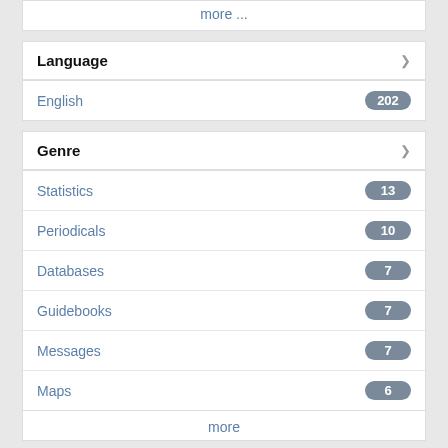more ...
Language
English 202
Genre
Statistics 13
Periodicals 10
Databases 7
Guidebooks 7
Messages 7
Maps 6
more